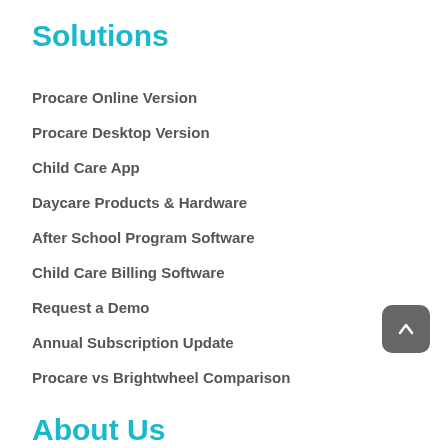Solutions
Procare Online Version
Procare Desktop Version
Child Care App
Daycare Products & Hardware
After School Program Software
Child Care Billing Software
Request a Demo
Annual Subscription Update
Procare vs Brightwheel Comparison
About Us